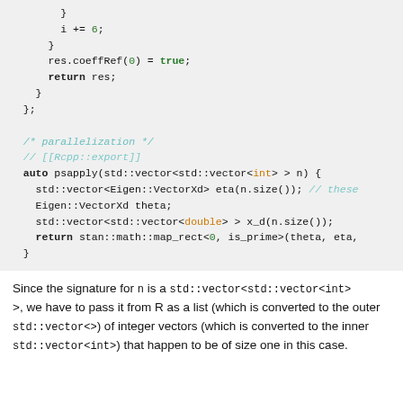}
  i += 6;
}
res.coeffRef(0) = true;
return res;
}
};

/* parallelization */
// [[Rcpp::export]]
auto psapply(std::vector<std::vector<int> > n) {
  std::vector<Eigen::VectorXd> eta(n.size()); // these
  Eigen::VectorXd theta;
  std::vector<std::vector<double> > x_d(n.size());
  return stan::math::map_rect<0, is_prime>(theta, eta,
}
Since the signature for n is a std::vector<std::vector<int>>, we have to pass it from R as a list (which is converted to the outer std::vector<>) of integer vectors (which is converted to the inner std::vector<int>) that happen to be of size one in this case.